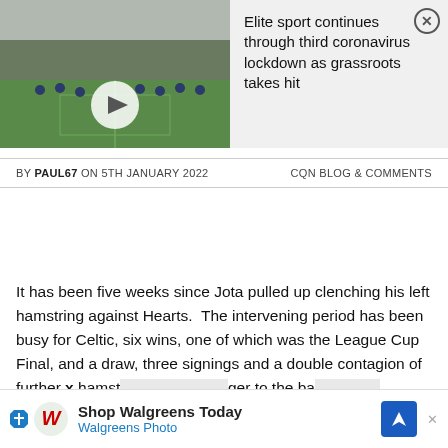[Figure (screenshot): Video thumbnail showing a soccer/football training session on a green grass field with players in blue uniforms, overlaid with a white play button triangle]
Elite sport continues through third coronavirus lockdown as grassroots takes hit
BY PAUL67 ON 5TH JANUARY 2022     CQN BLOG & COMMENTS
It has been five weeks since Jota pulled up clenching his left hamstring against Hearts.  The intervening period has been busy for Celtic, six wins, one of which was the League Cup Final, and a draw, three signings and a double contagion of further x hamst... ger to the ba...
[Figure (screenshot): Advertisement banner: Shop Walgreens Today - Walgreens Photo, with Walgreens W logo and blue navigation arrow icon]